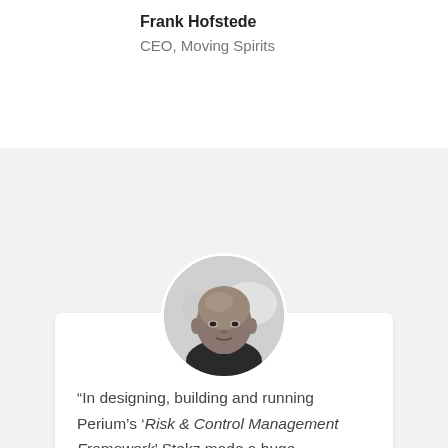Frank Hofstede
CEO, Moving Spirits
[Figure (photo): Black and white circular portrait photo of a bald middle-aged man facing forward with a neutral expression]
“In designing, building and running Perium’s ‘Risk & Control Management Framework’ Stekz made a huge contribution to Perium’s success. With their BizDevOps approach they guided